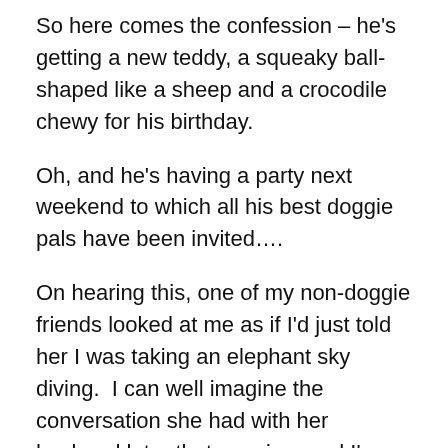So here comes the confession – he's getting a new teddy, a squeaky ball-shaped like a sheep and a crocodile chewy for his birthday.
Oh, and he's having a party next weekend to which all his best doggie pals have been invited….
On hearing this, one of my non-doggie friends looked at me as if I'd just told her I was taking an elephant sky diving.  I can well imagine the conversation she had with her husband later that evening  and I'm sure the word 'sad' came up more than once.  I'd put money on some derivative of 'mental', 'bonkers', 'delusional' or 'disturbed' too.
But do I care?  Hell no.  I seriously don't give a monkeys.  I have animals because I love them and what better, more human way is there to express love than to mark